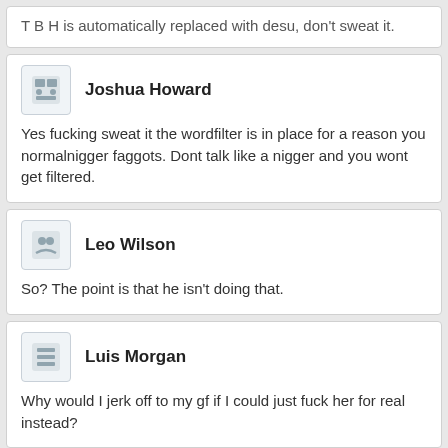T B H is automatically replaced with desu, don't sweat it.
Joshua Howard
Yes fucking sweat it the wordfilter is in place for a reason you normalnigger faggots. Dont talk like a nigger and you wont get filtered.
Leo Wilson
So? The point is that he isn't doing that.
Luis Morgan
Why would I jerk off to my gf if I could just fuck her for real instead?
Carter Butler